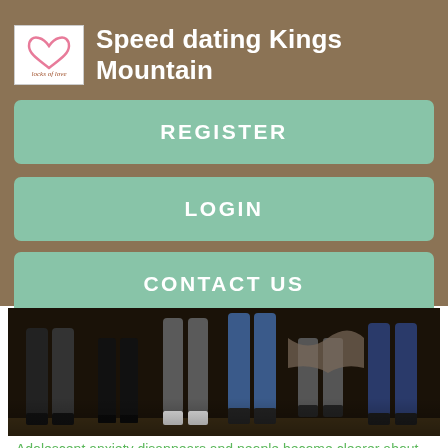Speed dating Kings Mountain
REGISTER
LOGIN
CONTACT US
[Figure (photo): Photo showing lower bodies and legs of a group of people standing together]
Adolescent anxiety disappears and people become clearer about what they are looking for. In short, dating only gets better with age.